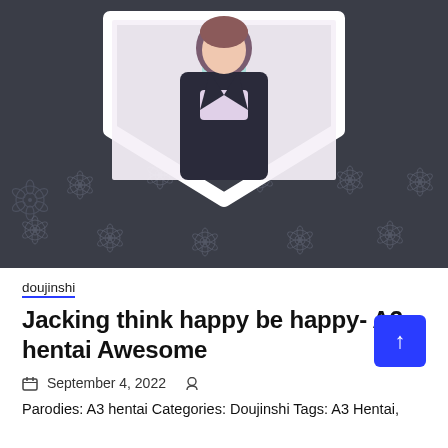[Figure (illustration): Manga/anime style cover art showing a character with brown hair in a dark suit against a dark background with flower outlines; a heart shape frames the character; the background is dark gray with decorative flower patterns.]
doujinshi
Jacking think happy be happy- A3 hentai Awesome
September 4, 2022
Parodies: A3 hentai Categories: Doujinshi Tags: A3 Hentai,